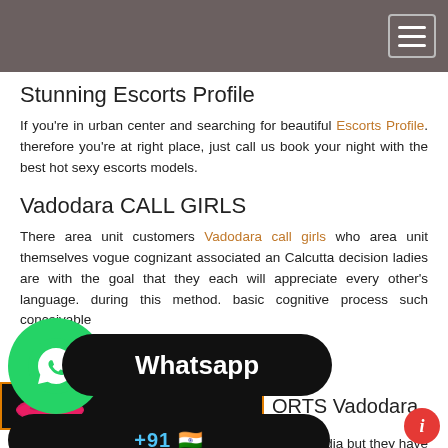Navigation bar with hamburger menu
Stunning Escorts Profile
If you're in urban center and searching for beautiful Escorts Profile. therefore you're at right place, just call us book your night with the best hot sexy escorts models.
Vadodara CALL GIRLS
There area unit customers Vadodara call girls who area unit themselves vogue cognizant associated an Calcutta decision ladies are with the goal that they each will appreciate every other's language. during this method. basic cognitive process such conceivable
[Figure (other): WhatsApp contact widget with green circle phone icon, black pill with Whatsapp label, and black rounded bar with phone number +91]
[Figure (other): Dark banner image with lips graphic and orange border, followed by ORTS Vadodara section title]
Busty Escorts Vadodara are not only famous in India but they have great demand across the